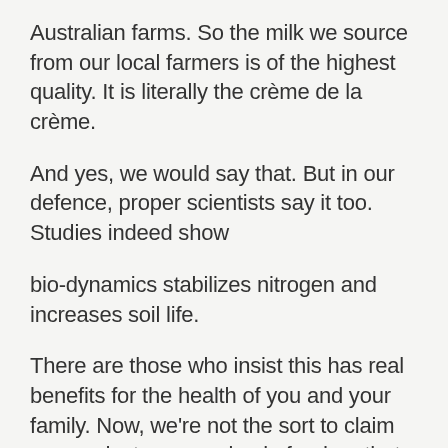Australian farms. So the milk we source from our local farmers is of the highest quality. It is literally the crème de la crème.
And yes, we would say that. But in our defence, proper scientists say it too. Studies indeed show
bio-dynamics stabilizes nitrogen and increases soil life.
There are those who insist this has real benefits for the health of you and your family. Now, we're not the sort to claim our products are a miracle food, or that they are a cure for everything that ails us.
But we do believe that having Mother Nature on your side is better than having Her against you.
And that at the very least, ensuring our lovingly-prepared milks, cheese, quark and yogurts are free